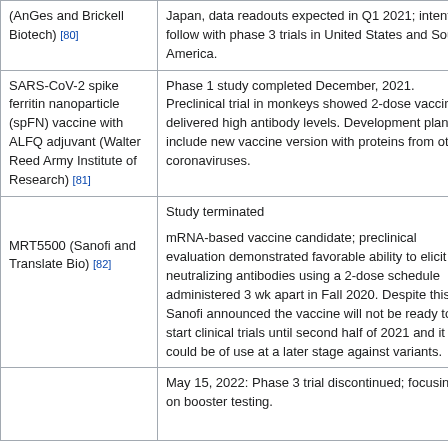| Vaccine / Developer | Status / Notes |
| --- | --- |
| (AnGes and Brickell Biotech) [80] | Japan, data readouts expected in Q1 2021; intent to follow with phase 3 trials in United States and South America. |
| SARS-CoV-2 spike ferritin nanoparticle (spFN) vaccine with ALFQ adjuvant (Walter Reed Army Institute of Research) [81] | Phase 1 study completed December, 2021. Preclinical trial in monkeys showed 2-dose vaccine delivered high antibody levels. Development plans include new vaccine version with proteins from other coronaviruses. |
| MRT5500 (Sanofi and Translate Bio) [82] | Study terminated

mRNA-based vaccine candidate; preclinical evaluation demonstrated favorable ability to elicit neutralizing antibodies using a 2-dose schedule administered 3 wk apart in Fall 2020. Despite this, Sanofi announced the vaccine will not be ready to start clinical trials until second half of 2021 and it could be of use at a later stage against variants. |
|  | May 15, 2022: Phase 3 trial discontinued; focusing on booster testing. |